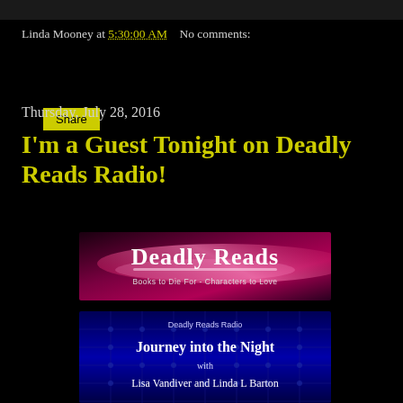Linda Mooney at 5:30:00 AM   No comments:
Share
Thursday, July 28, 2016
I'm a Guest Tonight on Deadly Reads Radio!
[Figure (photo): Deadly Reads banner logo — Books to Die For - Characters to Love, with a dark red/purple swoosh background]
[Figure (photo): Deadly Reads Radio - Journey into the Night with Lisa Vandiver and Linda L Barton, blue tufted background]